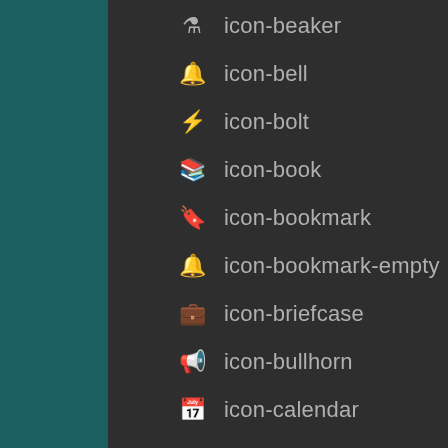⚗ icon-beaker
🔔 icon-bell
⚡ icon-bolt
📖 icon-book
🔖 icon-bookmark
🔖 icon-bookmark-empty
💼 icon-briefcase
📢 icon-bullhorn
📅 icon-calendar